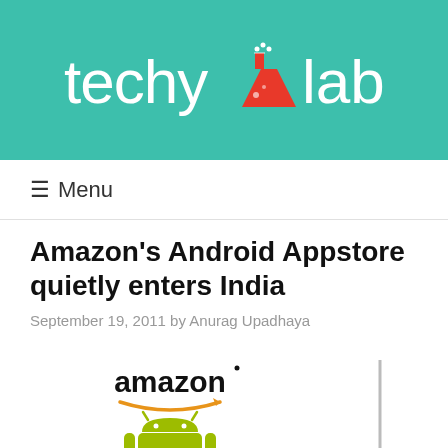techylab
Menu
Amazon’s Android Appstore quietly enters India
September 19, 2011 by Anurag Upadhaya
[Figure (logo): Amazon logo with orange arrow underneath, Android robot logo in green, and the word 'android' below]